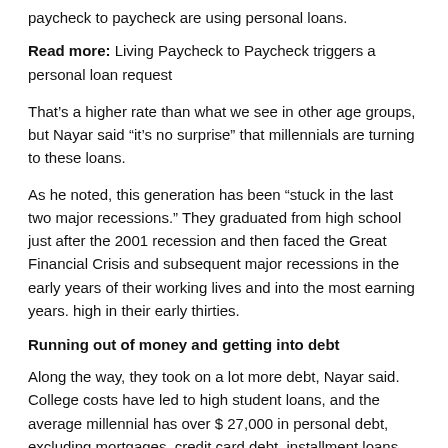paycheck to paycheck are using personal loans.
Read more: Living Paycheck to Paycheck triggers a personal loan request
That’s a higher rate than what we see in other age groups, but Nayar said “it’s no surprise” that millennials are turning to these loans.
As he noted, this generation has been “stuck in the last two major recessions.” They graduated from high school just after the 2001 recession and then faced the Great Financial Crisis and subsequent major recessions in the early years of their working lives and into the most earning years. high in their early thirties.
Running out of money and getting into debt
Along the way, they took on a lot more debt, Nayar said. College costs have led to high student loans, and the average millennial has over $ 27,000 in personal debt, excluding mortgages, credit card debt, installment loans and beyond.
Thus, they apply for personal loans with the aim of reaching new